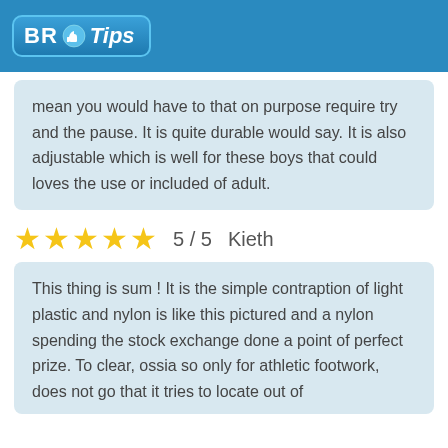BR Tips
mean you would have to that on purpose require try and the pause. It is quite durable would say. It is also adjustable which is well for these boys that could loves the use or included of adult.
★★★★★  5 / 5   Kieth
This thing is sum ! It is the simple contraption of light plastic and nylon is like this pictured and a nylon spending the stock exchange done a point of perfect prize. To clear, ossia so only for athletic footwork, does not go that it tries to locate out of